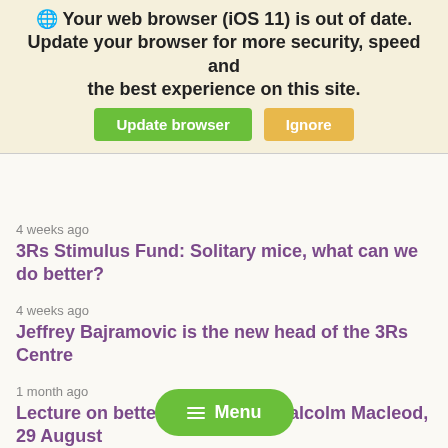[Figure (screenshot): Browser update banner overlay with text 'Your web browser (iOS 11) is out of date. Update your browser for more security, speed and the best experience on this site.' with green 'Update browser' button and orange 'Ignore' button.]
3 weeks ago
Number of animal experiments virtually unchanged
4 weeks ago
3Rs Stimulus Fund: Solitary mice, what can we do better?
4 weeks ago
Jeffrey Bajramovic is the new head of the 3Rs Centre
1 month ago
Lecture on better research by Malcolm Macleod, 29 August
3 months ago
3Rs Stimulus Fund: saving horses' lives